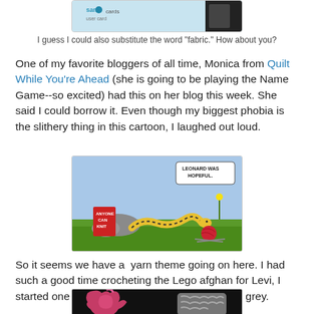[Figure (screenshot): Partial screenshot of a user card or badge at top of page]
I guess I could also substitute the word "fabric." How about you?
One of my favorite bloggers of all time, Monica from Quilt While You're Ahead (she is going to be playing the Name Game--so excited) had this on her blog this week. She said I could borrow it. Even though my biggest phobia is the slithery thing in this cartoon, I laughed out loud.
[Figure (illustration): Cartoon showing a snake looking at a book titled 'Anyone Can Knit' with yarn nearby; speech bubble says 'LEONARD WAS HOPEFUL.']
So it seems we have a  yarn theme going on here. I had such a good time crocheting the Lego afghan for Levi, I started one for his sister, in pinks, lavender and grey.
[Figure (photo): Photo of pink and grey crocheted fabric pieces on a dark background]